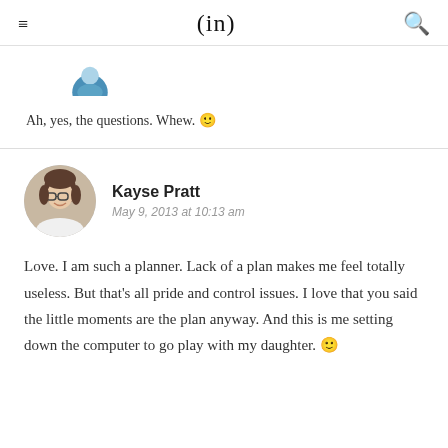≡  (in)  🔍
[Figure (photo): Partial view of a circular avatar photo showing the top portion of a person's head with blue background]
Ah, yes, the questions. Whew. 🙂
Kayse Pratt
May 9, 2013 at 10:13 am
[Figure (photo): Circular avatar photo of Kayse Pratt — a woman with brown hair and glasses, smiling, wearing a white top]
Love. I am such a planner. Lack of a plan makes me feel totally useless. But that's all pride and control issues. I love that you said the little moments are the plan anyway. And this is me setting down the computer to go play with my daughter. 🙂